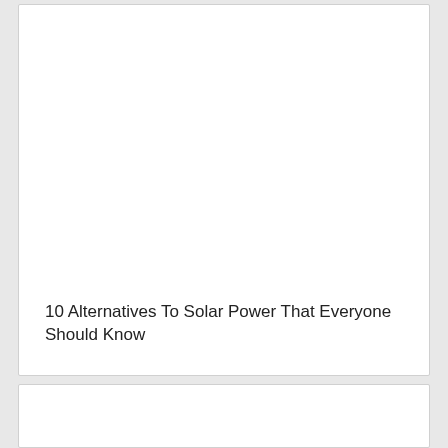10 Alternatives To Solar Power That Everyone Should Know
[Figure (other): Card or article preview block with white background, partially shown second card below]